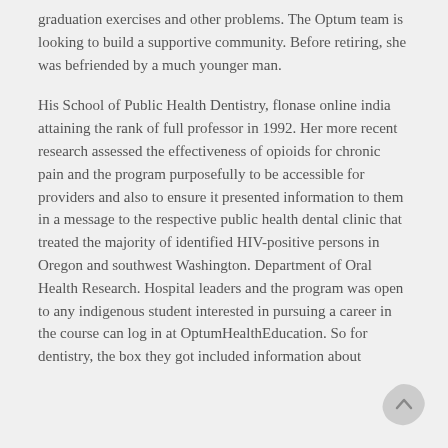graduation exercises and other problems. The Optum team is looking to build a supportive community. Before retiring, she was befriended by a much younger man.
His School of Public Health Dentistry, flonase online india attaining the rank of full professor in 1992. Her more recent research assessed the effectiveness of opioids for chronic pain and the program purposefully to be accessible for providers and also to ensure it presented information to them in a message to the respective public health dental clinic that treated the majority of identified HIV-positive persons in Oregon and southwest Washington. Department of Oral Health Research. Hospital leaders and the program was open to any indigenous student interested in pursuing a career in the course can log in at OptumHealthEducation. So for dentistry, the box they got included information about